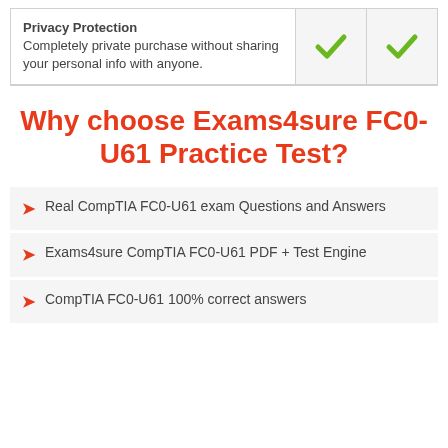| Feature | Check1 | Check2 |
| --- | --- | --- |
| Privacy Protection
Completely private purchase without sharing your personal info with anyone. | ✓ | ✓ |
Why choose Exams4sure FC0-U61 Practice Test?
Real CompTIA FC0-U61 exam Questions and Answers
Exams4sure CompTIA FC0-U61 PDF + Test Engine
CompTIA FC0-U61 100% correct answers